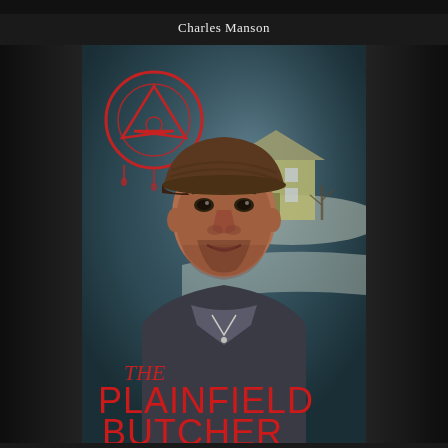Charles Manson
[Figure (illustration): Book cover illustration for 'The Plainfield Butcher' showing a painted portrait of a man wearing a cap and dark coat, with a red occult/pentagram symbol in the upper left, and a farmhouse in a snowy winter scene in the background. The title 'THE PLAINFIELD BUTCHER' is shown in large red letters at the bottom of the cover.]